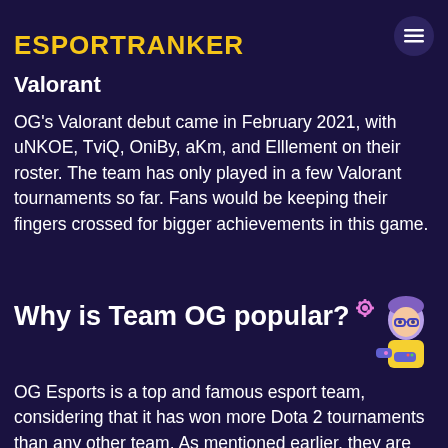ESPORTRANKER
their achievements (as you will see later in this post) …still impressive.
Valorant
OG's Valorant debut came in February 2021, with uNKOE, TviQ, OniBy, aKm, and Elllement on their roster. The team has only played in a few Valorant tournaments so far. Fans would be keeping their fingers crossed for bigger achievements in this game.
Why is Team OG popular?
[Figure (illustration): Cartoon illustration of a person with purple hair wearing glasses and holding a game controller, with gear icons around them]
OG Esports is a top and famous esport team, considering that it has won more Dota 2 tournaments than any other team. As mentioned earlier, they are the only team to win two Major Dota 2